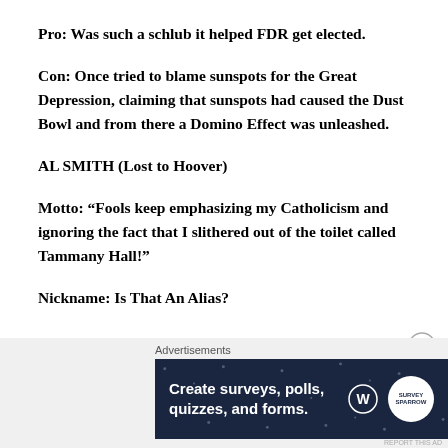Pro: Was such a schlub it helped FDR get elected.
Con: Once tried to blame sunspots for the Great Depression, claiming that sunspots had caused the Dust Bowl and from there a Domino Effect was unleashed.
AL SMITH (Lost to Hoover)
Motto: “Fools keep emphasizing my Catholicism and ignoring the fact that I slithered out of the toilet called Tammany Hall!”
Nickname: Is That An Alias?
[Figure (infographic): Advertisement banner: 'Create surveys, polls, quizzes, and forms.' on dark navy background with WordPress logo and a white circular badge.]